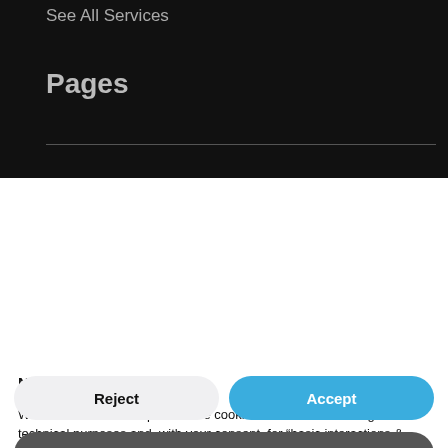See All Services
Pages
Notice
We and selected third parties use cookies or similar technologies for technical purposes and, with your consent, for “basic interactions & functionalities”, “experience enhancement”, “measurement” and “targeting & advertising” as specified in the cookie policy. Denying consent may make related features unavailable.
You can freely give, deny, or withdraw your consent at any time.
Use the “Accept” button to consent to the use of such technologies. Use the “Reject” button to continue without accepting.
Reject
Accept
Learn more and customize